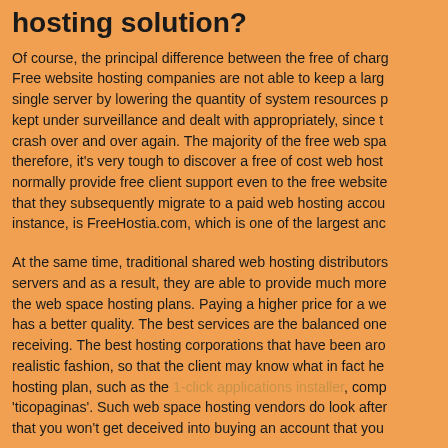hosting solution?
Of course, the principal difference between the free of charge and the paid… Free website hosting companies are not able to keep a large number of clients on a single server by lowering the quantity of system resources per account. Servers need to be kept under surveillance and dealt with appropriately, since the free hosting websites crash over and over again. The majority of the free web space hosting vendors, therefore, it's very tough to discover a free of cost web hosting company that will normally provide free client support even to the free website hosting users, expecting that they subsequently migrate to a paid web hosting account. One such company, for instance, is FreeHostia.com, which is one of the largest and...
At the same time, traditional shared web hosting distributors own multiple servers and as a result, they are able to provide much more reliable and affordable the web space hosting plans. Paying a higher price for a web hosting package that has a better quality. The best services are the balanced ones — what you pay is what you're receiving. The best hosting corporations that have been around long enough present their plans in a realistic fashion, so that the client may know what in fact he is getting with the web hosting plan, such as the 1-click applications installer, compared to plans such as 'ticopaginas'. Such web space hosting vendors do look after their clients and make sure that you won't get deceived into buying an account that you...